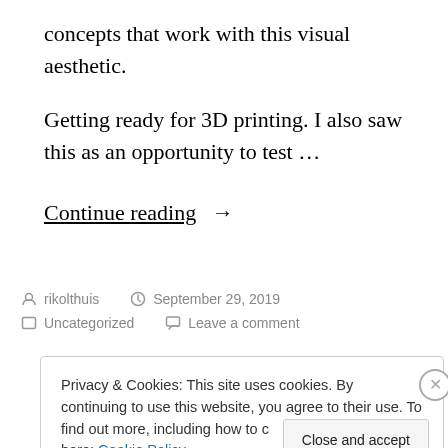concepts that work with this visual aesthetic.
Getting ready for 3D printing. I also saw this as an opportunity to test …
Continue reading →
rikolthuis   September 29, 2019   Uncategorized   Leave a comment
Privacy & Cookies: This site uses cookies. By continuing to use this website, you agree to their use. To find out more, including how to control cookies, see here: Cookie Policy